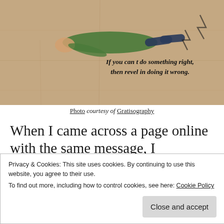[Figure (photo): Person lying face down on a pinkish concrete/asphalt surface. Overlaid bold italic text reads: 'If you can't do something right, then revel in doing it wrong.']
Photo courtesy of Gratisography
When I came across a page online with the same message, I immediately thought about us writers. (I've probably even used the image before.)
Privacy & Cookies: This site uses cookies. By continuing to use this website, you agree to their use.
To find out more, including how to control cookies, see here: Cookie Policy
Close and accept